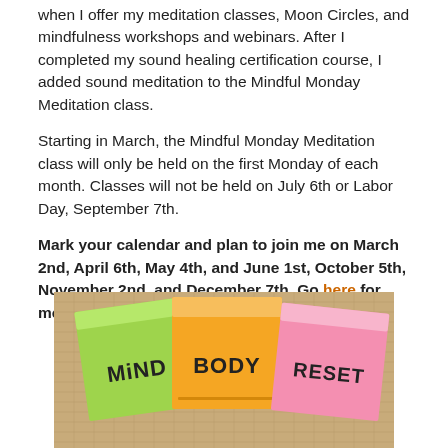when I offer my meditation classes, Moon Circles, and mindfulness workshops and webinars. After I completed my sound healing certification course, I added sound meditation to the Mindful Monday Meditation class.
Starting in March, the Mindful Monday Meditation class will only be held on the first Monday of each month. Classes will not be held on July 6th or Labor Day, September 7th.
Mark your calendar and plan to join me on March 2nd, April 6th, May 4th, and June 1st, October 5th, November 2nd, and December 7th. Go here for more details.
[Figure (photo): Three colorful sticky notes on a burlap background labeled MiND (green), BODY (yellow/orange), and RESET (pink)]